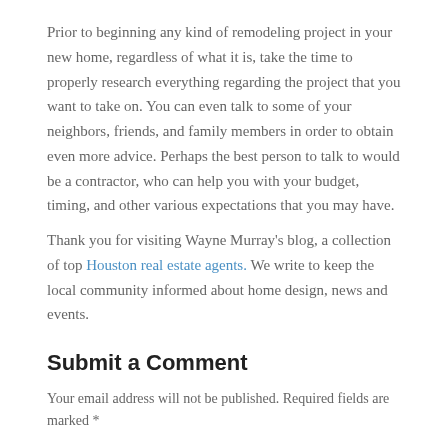Prior to beginning any kind of remodeling project in your new home, regardless of what it is, take the time to properly research everything regarding the project that you want to take on. You can even talk to some of your neighbors, friends, and family members in order to obtain even more advice. Perhaps the best person to talk to would be a contractor, who can help you with your budget, timing, and other various expectations that you may have.
Thank you for visiting Wayne Murray's blog, a collection of top Houston real estate agents. We write to keep the local community informed about home design, news and events.
Submit a Comment
Your email address will not be published. Required fields are marked *